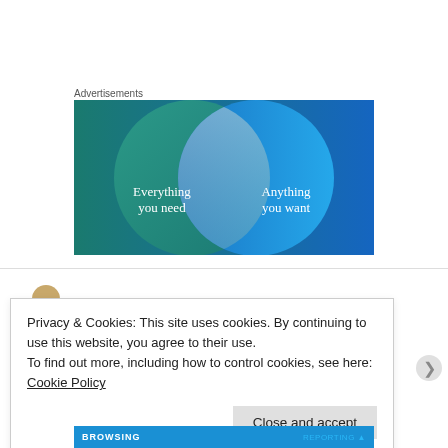Advertisements
[Figure (illustration): Venn diagram advertisement showing two overlapping circles on a blue/teal gradient background. Left circle (teal/green) labeled 'Everything you need', right circle (blue) labeled 'Anything you want', with a lighter overlapping region in the center.]
Privacy & Cookies: This site uses cookies. By continuing to use this website, you agree to their use.
To find out more, including how to control cookies, see here:
Cookie Policy
Close and accept